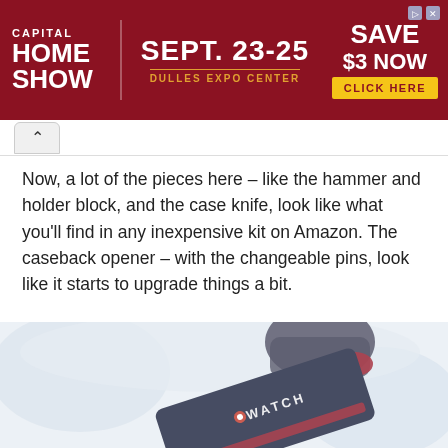[Figure (other): Advertisement banner for Capital Home Show, Sept. 23-25, Dulles Expo Center. Save $3 Now. Click Here.]
Now, a lot of the pieces here – like the hammer and holder block, and the case knife, look like what you'll find in any inexpensive kit on Amazon. The caseback opener – with the changeable pins, look like it starts to upgrade things a bit.
[Figure (photo): Photo of a hand holding a dark navy watch tool kit case with 'WATCH' branding, against a light blurred background.]